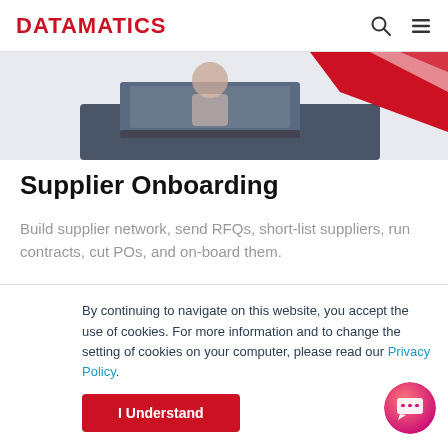DATAMATICS
[Figure (illustration): Partial illustration showing a person at a laptop with red and white graphic elements, partially cropped at top]
Supplier Onboarding
Build supplier network, send RFQs, short-list suppliers, run contracts, cut POs, and on-board them.
By continuing to navigate on this website, you accept the use of cookies. For more information and to change the setting of cookies on your computer, please read our Privacy Policy.
I Understand